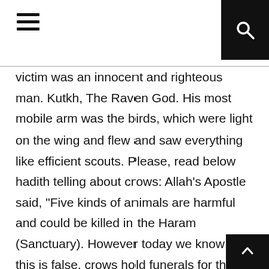victim was an innocent and righteous man. Kutkh, The Raven God. His most mobile arm was the birds, which were light on the wing and flew and saw everything like efficient scouts. Please, read below hadith telling about crows: Allah's Apostle said, "Five kinds of animals are harmful and could be killed in the Haram (Sanctuary). However today we know that this is false, crows hold funerals for their dead. Praise be to Allah. Cain, in his shame, began to curse himself and he became full of guilt. ( Log Out / Almost all birds sleep on one leg. The Quran explicitly allows the consumption of the meat of certain halal (lawful) animals. Some traditions also associate crows and ravens with occultism and dark witchcraft. ( Log Out /  Often when you hear a group of crows all cawing loudly at the same time it means there is a nearby predator they are trying to scare away. Change ). The